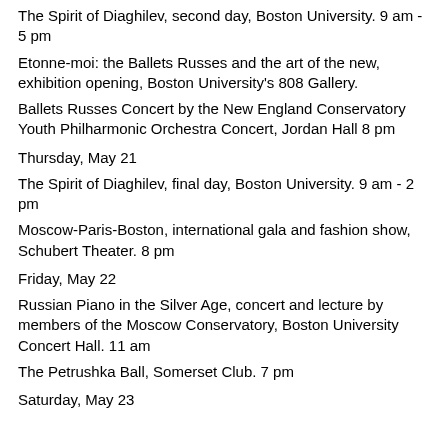The Spirit of Diaghilev, second day, Boston University. 9 am - 5 pm
Etonne-moi: the Ballets Russes and the art of the new, exhibition opening, Boston University's 808 Gallery.
Ballets Russes Concert by the New England Conservatory Youth Philharmonic Orchestra Concert, Jordan Hall 8 pm
Thursday, May 21
The Spirit of Diaghilev, final day, Boston University. 9 am - 2 pm
Moscow-Paris-Boston, international gala and fashion show, Schubert Theater. 8 pm
Friday, May 22
Russian Piano in the Silver Age, concert and lecture by members of the Moscow Conservatory, Boston University Concert Hall. 11 am
The Petrushka Ball, Somerset Club. 7 pm
Saturday, May 23